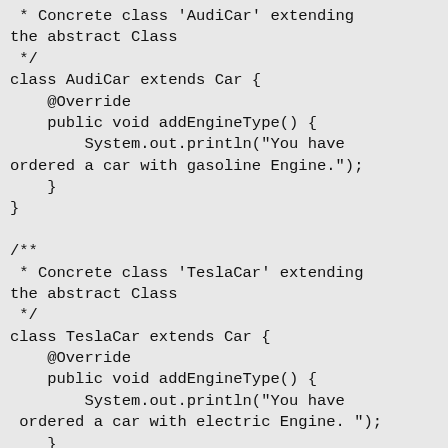* Concrete class 'AudiCar' extending the abstract Class
 */
class AudiCar extends Car {
    @Override
    public void addEngineType() {
        System.out.println("You have ordered a car with gasoline Engine.");
    }
}

/**
 * Concrete class 'TeslaCar' extending the abstract Class
 */
class TeslaCar extends Car {
    @Override
    public void addEngineType() {
        System.out.println("You have ordered a car with electric Engine. ");
    }
}

/**
 * In Factory method, the object of the